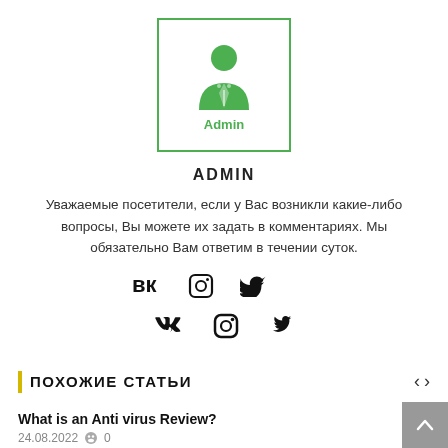[Figure (illustration): Green admin/user icon inside a green-bordered box with 'Admin' label in green text]
ADMIN
Уважаемые посетители, если у Вас возникли какие-либо вопросы, Вы можете их задать в комментариях. Мы обязательно Вам ответим в течении суток.
[Figure (infographic): Social media icons: VK, Instagram, Twitter]
ПОХОЖИЕ СТАТЬИ
What is an Anti virus Review?
24.08.2022  0